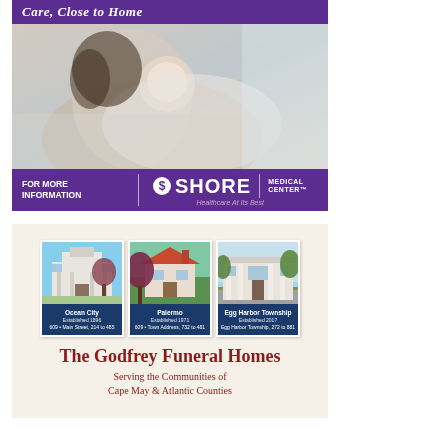[Figure (advertisement): Shore Medical Center advertisement showing mother and newborn baby with purple banner 'Care, Close to Home' and bottom banner 'For More Information' with Shore Medical Center logo and tagline 'Healthcare At Its Best']
[Figure (advertisement): The Godfrey Funeral Homes advertisement showing three location photos (Ocean City, Palermo, Egg Harbor Township) on beige background with text 'Serving the Communities of Cape May & Atlantic Counties']